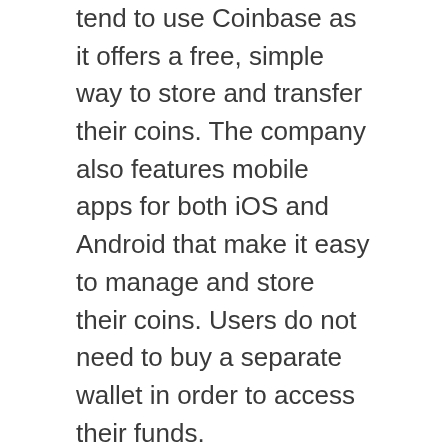tend to use Coinbase as it offers a free, simple way to store and transfer their coins. The company also features mobile apps for both iOS and Android that make it easy to manage and store their coins. Users do not need to buy a separate wallet in order to access their funds.
One of the most attractive features of Coinbase is that it allows you to trade up to twenty cryptocurrencies. This allows you to be as versatile as possible. Unlike other centralized exchanges, however, you can withdraw up to $25,000 per day from your regular Coinbase account. Moreover, the app is a convenient way to conduct transactions while on the go. The only drawbacks of Coinbase are the long verification process, which can take up to two weeks.